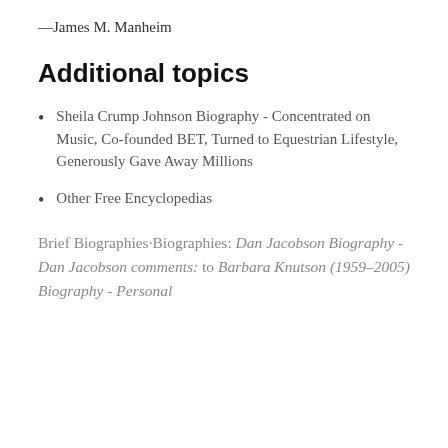—James M. Manheim
Additional topics
Sheila Crump Johnson Biography - Concentrated on Music, Co-founded BET, Turned to Equestrian Lifestyle, Generously Gave Away Millions
Other Free Encyclopedias
Brief Biographies·Biographies: Dan Jacobson Biography - Dan Jacobson comments: to Barbara Knutson (1959–2005) Biography - Personal